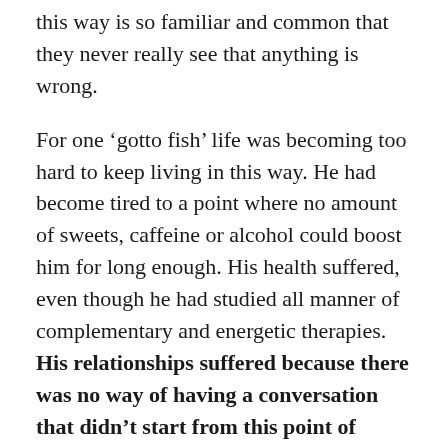this way is so familiar and common that they never really see that anything is wrong.
For one ‘gotto fish’ life was becoming too hard to keep living in this way. He had become tired to a point where no amount of sweets, caffeine or alcohol could boost him for long enough. His health suffered, even though he had studied all manner of complementary and energetic therapies. His relationships suffered because there was no way of having a conversation that didn’t start from this point of anxiety.
He was committed to getting it right but couldn’t keep swimming through life this way. The hard part was finding another way to move through life, which was a quest he had been on for a number of years, but to little effect. On one level the ‘gotto